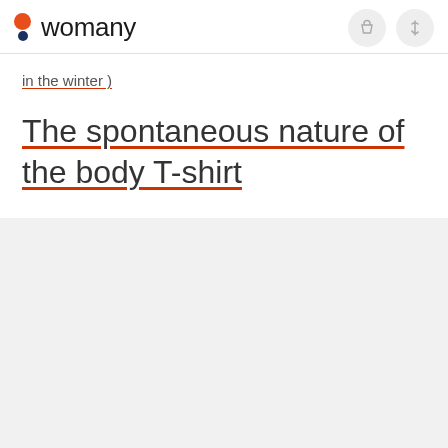womany
in the winter )
The spontaneous nature of the body T-shirt